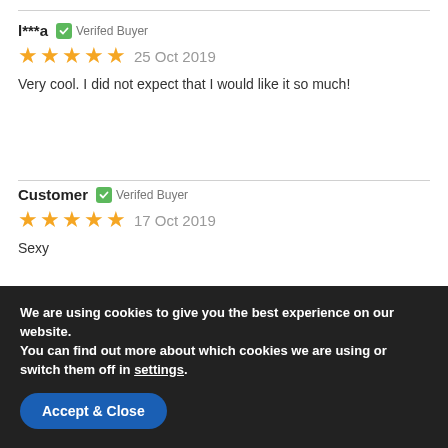l***a  Verifed Buyer
★★★★★  25 Oct 2019
Very cool. I did not expect that I would like it so much!
Customer  Verifed Buyer
★★★★★  17 Oct 2019
Sexy
We are using cookies to give you the best experience on our website.
You can find out more about which cookies we are using or switch them off in settings.
Accept & Close